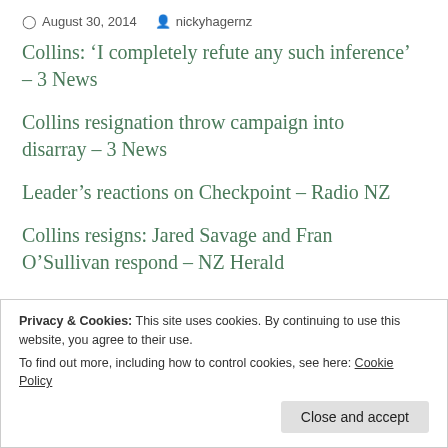August 30, 2014   nickyhagernz
Collins: ‘I completely refute any such inference’ – 3 News
Collins resignation throw campaign into disarray – 3 News
Leader’s reactions on Checkpoint – Radio NZ
Collins resigns: Jared Savage and Fran O’Sullivan respond – NZ Herald
Privacy & Cookies: This site uses cookies. By continuing to use this website, you agree to their use.
To find out more, including how to control cookies, see here: Cookie Policy